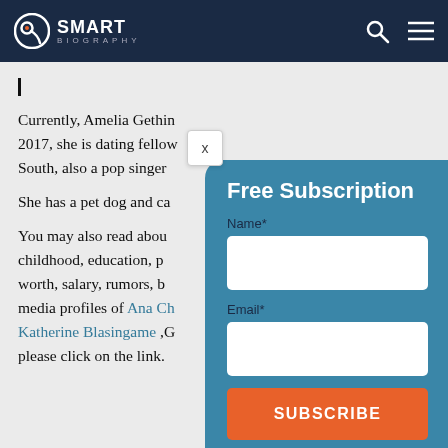SMART BIOGRAPHY
Currently, Amelia Gethin... 2017, she is dating fellow... South, also a pop singer...
She has a pet dog and ca...
You may also read about... childhood, education, p... worth, salary, rumors, b... media profiles of Ana Ch... Katherine Blasingame ,G... please click on the link.
[Figure (screenshot): Free Subscription modal popup with Name and Email fields and a Subscribe button on a teal/blue background, with an X close button]